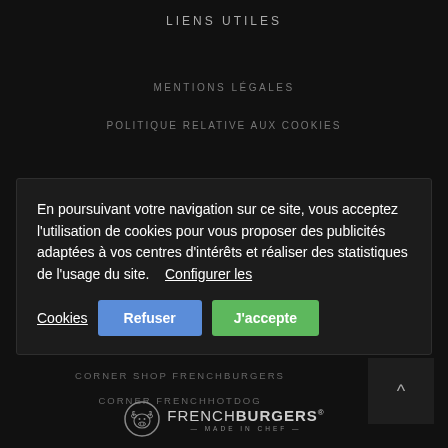LIENS UTILES
MENTIONS LÉGALES
POLITIQUE RELATIVE AUX COOKIES
En poursuivant votre navigation sur ce site, vous acceptez l'utilisation de cookies pour vous proposer des publicités adaptées à vos centres d'intérêts et réaliser des statistiques de l'usage du site.   Configurer les Cookies
CORNER SHOP FRENCHBURGERS
CORNER FRENCHHOTDOG
[Figure (logo): FrenchBurgers logo with bull head icon and text FRENCHBURGERS MADE IN CHEF]